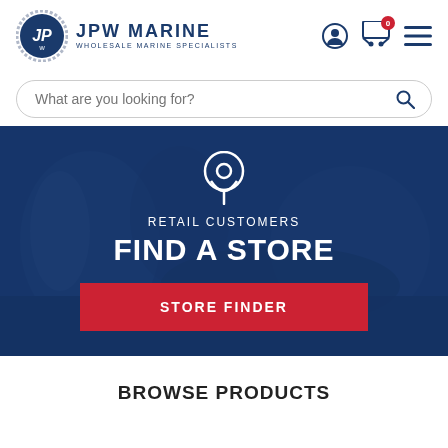[Figure (logo): JPW Marine logo — circular emblem with JP initials and rope border, next to 'JPW MARINE / WHOLESALE MARINE SPECIALISTS' text]
[Figure (screenshot): Search bar with placeholder text 'What are you looking for?' and magnifying glass icon]
[Figure (infographic): Hero banner with dark blue overlay over a marine/boating background photo, showing a location pin icon, 'RETAIL CUSTOMERS' label, 'FIND A STORE' heading, and a red 'STORE FINDER' button]
BROWSE PRODUCTS